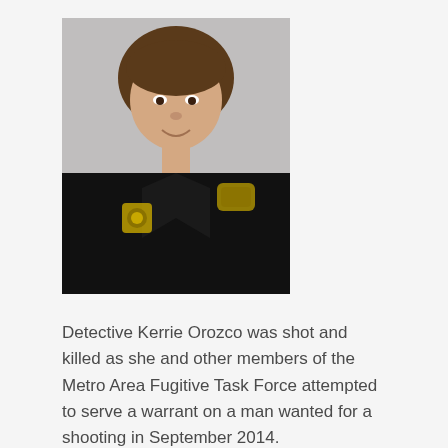[Figure (photo): Portrait photo of Detective Kerrie Orozco in police uniform with badge, smiling, against a light gray background.]
Detective Kerrie Orozco was shot and killed as she and other members of the Metro Area Fugitive Task Force attempted to serve a warrant on a man wanted for a shooting in September 2014.
The subject opened fire on the officers as they approached a home near the intersection of Read Street and Martin Avenue. Members of the task force returned fire, fatally wounding the man.
Detective Orozco was transported to Creighton University Medical Center where she succumbed to her...